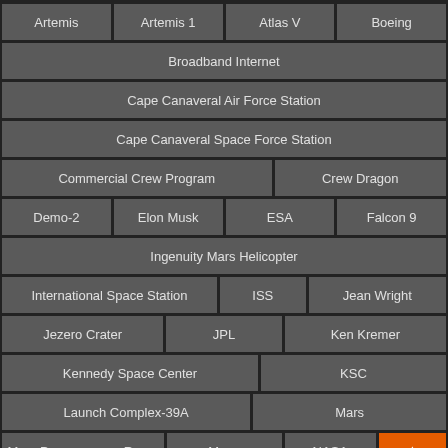Artemis
Artemis 1
Atlas V
Boeing
Broadband Internet
Cape Canaveral Air Force Station
Cape Canaveral Space Force Station
Commercial Crew Program
Crew Dragon
Demo-2
Elon Musk
ESA
Falcon 9
Ingenuity Mars Helicopter
International Space Station
ISS
Jean Wright
Jezero Crater
JPL
Ken Kremer
Kennedy Space Center
KSC
Launch Complex-39A
Mars
Mars Perseverance Rover
Moon
NASA
▲ (scroll to top button)